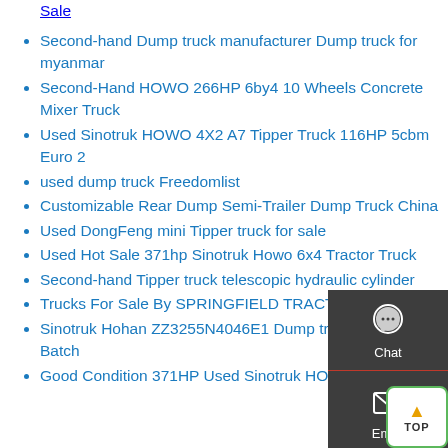Sale
Second-hand Dump truck manufacturer Dump truck for myanmar
Second-Hand HOWO 266HP 6by4 10 Wheels Concrete Mixer Truck
Used Sinotruk HOWO 4X2 A7 Tipper Truck 116HP 5cbm Euro 2
used dump truck Freedomlist
Customizable Rear Dump Semi-Trailer Dump Truck China
Used DongFeng mini Tipper truck for sale
Used Hot Sale 371hp Sinotruk Howo 6x4 Tractor Truck
Second-hand Tipper truck telescopic hydraulic cylinder
Trucks For Sale By SPRINGFIELD TRACTOR TRAILER 6
Sinotruk Hohan ZZ3255N4046E1 Dump truck chassis Batch
Good Condition 371HP Used Sinotruk HOWO Howo…